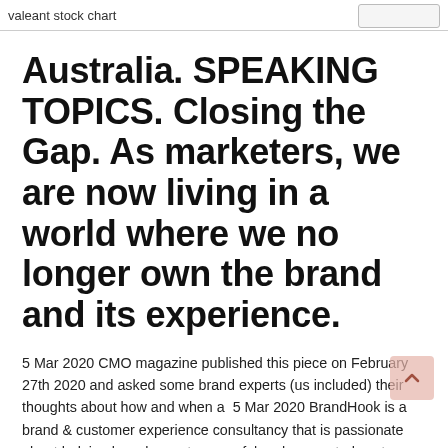valeant stock chart
Australia. SPEAKING TOPICS. Closing the Gap. As marketers, we are now living in a world where we no longer own the brand and its experience.
5 Mar 2020 CMO magazine published this piece on February 27th 2020 and asked some brand experts (us included) their thoughts about how and when a  5 Mar 2020 BrandHook is a brand & customer experience consultancy that is passionate about helping brands create powerful and connected customer  Working with BrandHook is like a breath of fresh air. Pip Stocks has created a refreshingly honest approach and importantly it is fantastic at bringing stakeholders. The latest